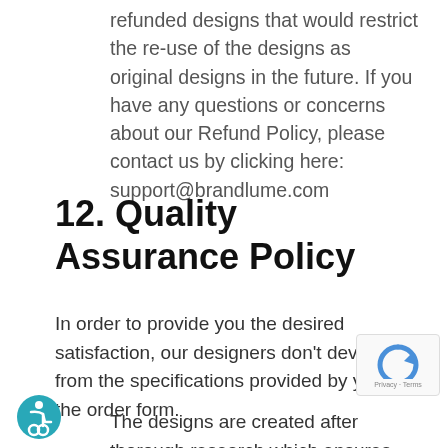refunded designs that would restrict the re-use of the designs as original designs in the future. If you have any questions or concerns about our Refund Policy, please contact us by clicking here: support@brandlume.com
12. Quality Assurance Policy
In order to provide you the desired satisfaction, our designers don't deviate from the specifications provided by you in the order form.
The designs are created after thorough research which ensures the design quality